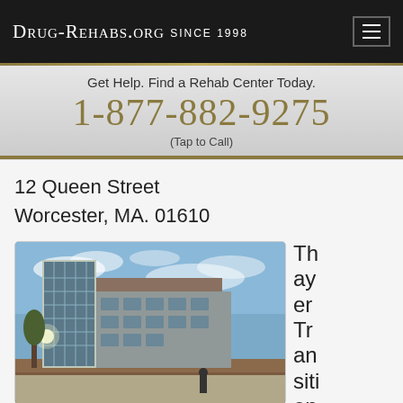Drug-Rehabs.org Since 1998
Get Help. Find a Rehab Center Today.
1-877-882-9275
(Tap to Call)
12 Queen Street
Worcester, MA. 01610
[Figure (photo): Exterior photo of a modern multi-story building with large glass windows under a partly cloudy sky, likely a medical or rehabilitation facility.]
Thayer Transitional Su